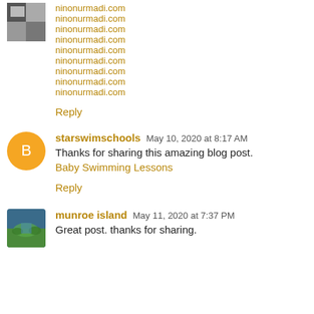ninonurmadi.com
ninonurmadi.com
ninonurmadi.com
ninonurmadi.com
ninonurmadi.com
ninonurmadi.com
ninonurmadi.com
ninonurmadi.com
ninonurmadi.com
Reply
starswimschools  May 10, 2020 at 8:17 AM
Thanks for sharing this amazing blog post.
Baby Swimming Lessons
Reply
munroe island  May 11, 2020 at 7:37 PM
Great post. thanks for sharing.